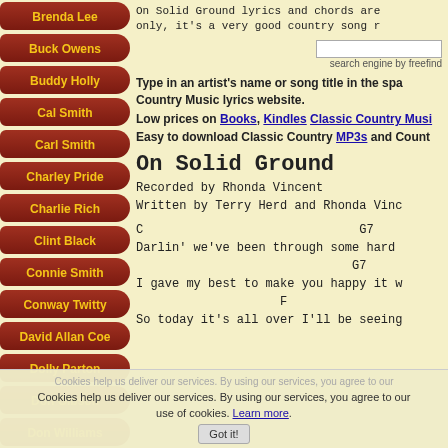Brenda Lee
Buck Owens
Buddy Holly
Cal Smith
Carl Smith
Charley Pride
Charlie Rich
Clint Black
Connie Smith
Conway Twitty
David Allan Coe
Dolly Parton
Don Gibson
Don Williams
Dwight Yoakam
On Solid Ground lyrics and chords are only, it's a very good country song r
search engine by freefind
Type in an artist's name or song title in the spa Country Music lyrics website.
Low prices on Books, Kindles Classic Country Musi
Easy to download Classic Country MP3s and Count
On Solid Ground
Recorded by Rhonda Vincent
Written by Terry Herd and Rhonda Vinc
C                              G7
Darlin' we've been through some hard
                              G7
I gave my best to make you happy it w
                    F
So today it's all over I'll be seeing
Cookies help us deliver our services. By using our services, you agree to our use of cookies. Learn more.